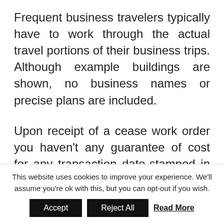Frequent business travelers typically have to work through the actual travel portions of their business trips. Although example buildings are shown, no business names or precise plans are included.
Upon receipt of a cease work order you haven't any guarantee of cost for any transaction date-stamped in your accounting system after the date of the stop work order (or the graduation date of a cease work order specified in a Contracting Officer's Letter). All
This website uses cookies to improve your experience. We'll assume you're ok with this, but you can opt-out if you wish.